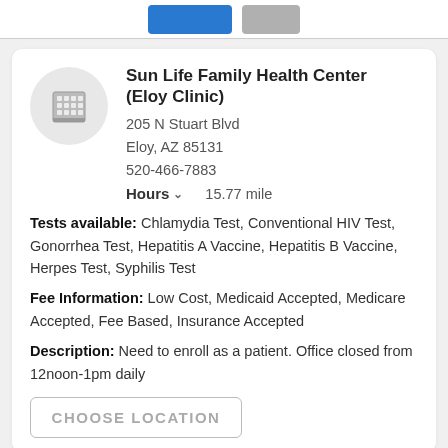[Figure (screenshot): Top navigation bar with a blue button and a gray button]
Sun Life Family Health Center (Eloy Clinic)
205 N Stuart Blvd
Eloy, AZ 85131
520-466-7883
Hours  15.77 mile
Tests available: Chlamydia Test, Conventional HIV Test, Gonorrhea Test, Hepatitis A Vaccine, Hepatitis B Vaccine, Herpes Test, Syphilis Test
Fee Information: Low Cost, Medicaid Accepted, Medicare Accepted, Fee Based, Insurance Accepted
Description: Need to enroll as a patient. Office closed from 12noon-1pm daily
CHOOSE LOCATION